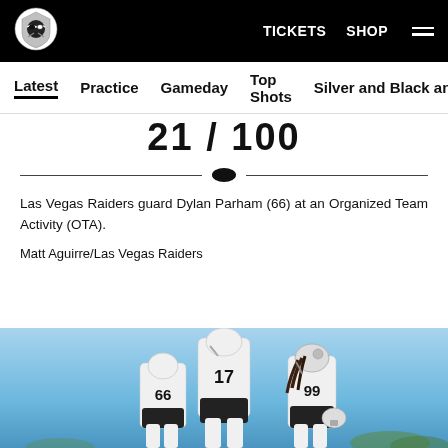TICKETS  SHOP
Latest  Practice  Gameday  Top Shots  Silver and Black and Wh
21 / 100
Las Vegas Raiders guard Dylan Parham (66) at an Organized Team Activity (OTA).
Matt Aguirre/Las Vegas Raiders
[Figure (photo): Three Las Vegas Raiders players in white practice jerseys and helmets standing on a practice field under a blue sky. Player numbers 66, 77 (or 17), and 99 visible.]